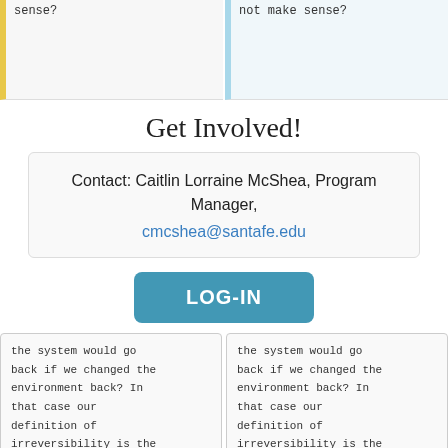sense?
not make sense?
Get Involved!
Contact: Caitlin Lorraine McShea, Program Manager, cmcshea@santafe.edu
LOG-IN
the system would go back if we changed the environment back? In that case our definition of irreversibility is the presence of hysteresis?
the system would go back if we changed the environment back? In that case our definition of irreversibility is the presence of hysteresis?